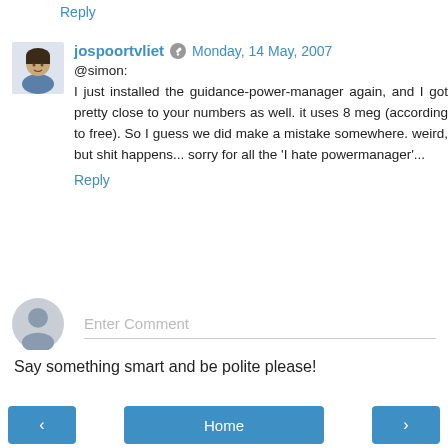Reply
jospoortvliet  Monday, 14 May, 2007
@simon:
I just installed the guidance-power-manager again, and I got pretty close to your numbers as well. it uses 8 meg (according to free). So I guess we did make a mistake somewhere. weird, but shit happens... sorry for all the 'I hate powermanager'...
Reply
Enter Comment
Say something smart and be polite please!
< Home >